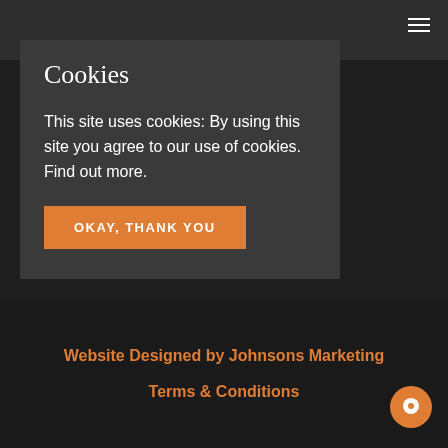Cookies
This site uses cookies: By using this site you agree to our use of cookies. Find out more.
OKAY, THANK YOU
Website Designed by Johnsons Marketing
Terms & Conditions